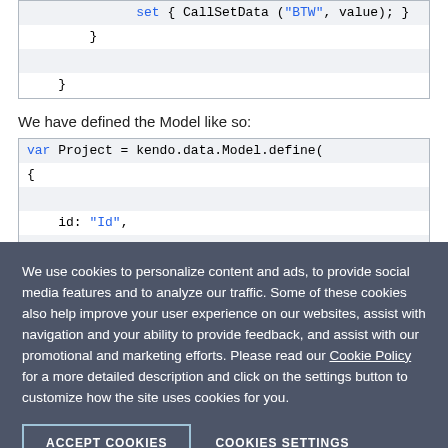[Figure (screenshot): Code block showing set { CallSetData ("BTW", value); } and closing braces]
We have defined the Model like so:
[Figure (screenshot): Code block showing var Project = kendo.data.Model.define({ id: "Id",]
We use cookies to personalize content and ads, to provide social media features and to analyze our traffic. Some of these cookies also help improve your user experience on our websites, assist with navigation and your ability to provide feedback, and assist with our promotional and marketing efforts. Please read our Cookie Policy for a more detailed description and click on the settings button to customize how the site uses cookies for you.
ACCEPT COOKIES
COOKIES SETTINGS